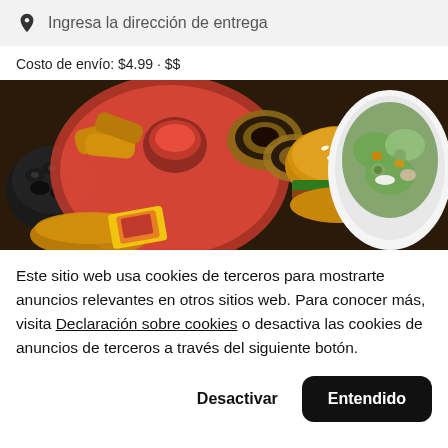Ingresa la dirección de entrega
Costo de envío: $4.99 · $$
[Figure (photo): Food spread photograph showing burgers, onion rings, chicken tenders, salad, and olives on a restaurant table.]
Este sitio web usa cookies de terceros para mostrarte anuncios relevantes en otros sitios web. Para conocer más, visita Declaración sobre cookies o desactiva las cookies de anuncios de terceros a través del siguiente botón.
Desactivar
Entendido